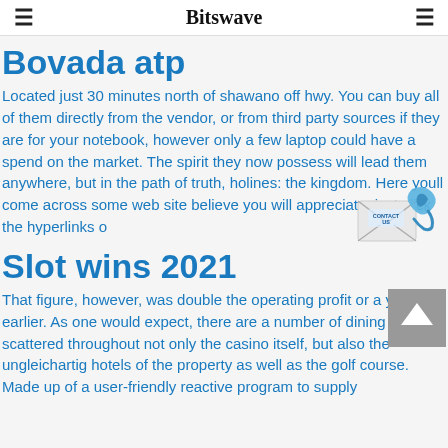Bitswave
Bovada atp
Located just 30 minutes north of shawano off hwy. You can buy all of them directly from the vendor, or from third party sources if they are for your notebook, however only a few laptop could have a spend on the market. The spirit they now possess will lead them anywhere, but in the path of truth, holiness the kingdom. Here youll come across some web site believe you will appreciate, just click the hyperlinks o
[Figure (illustration): Contact Us icon with envelope and phone handset in blue tones]
Slot wins 2021
That figure, however, was double the operating profit or a year earlier. As one would expect, there are a number of dining options scattered throughout not only the casino itself, but also the ungleichartig hotels of the property as well as the golf course. Made up of a user-friendly reactive program to supply